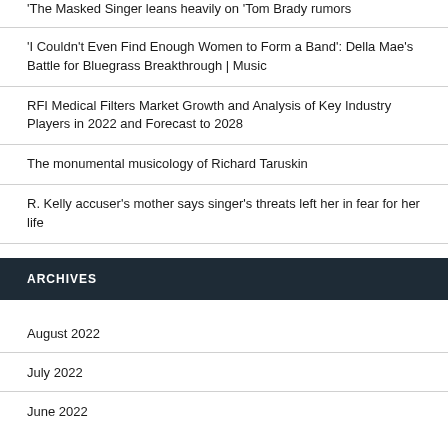'The Masked Singer leans heavily on 'Tom Brady rumors
'I Couldn't Even Find Enough Women to Form a Band': Della Mae's Battle for Bluegrass Breakthrough | Music
RFI Medical Filters Market Growth and Analysis of Key Industry Players in 2022 and Forecast to 2028
The monumental musicology of Richard Taruskin
R. Kelly accuser's mother says singer's threats left her in fear for her life
ARCHIVES
August 2022
July 2022
June 2022